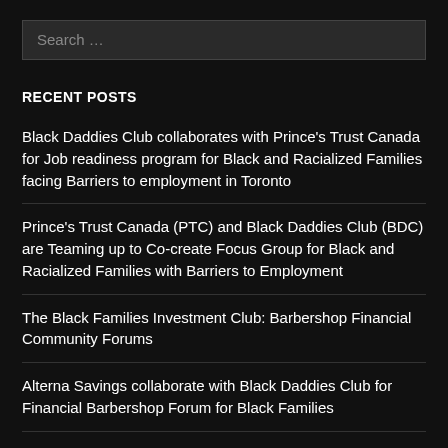Search ...
RECENT POSTS
Black Daddies Club collaborates with Prince's Trust Canada for Job readiness program for Black and Racialized Families facing Barriers to employment in Toronto
Prince's Trust Canada (PTC) and Black Daddies Club (BDC) are Teaming up to Co-create Focus Group for Black and Racialized Families with Barriers to Employment
The Black Families Investment Club: Barbershop Financial Community Forums
Alterna Savings collaborate with Black Daddies Club for Financial Barbershop Forum for Black Families
BitBuy and Black Daddies Club, collaborates to present: Black Families Investment Club Barbershop discussion series